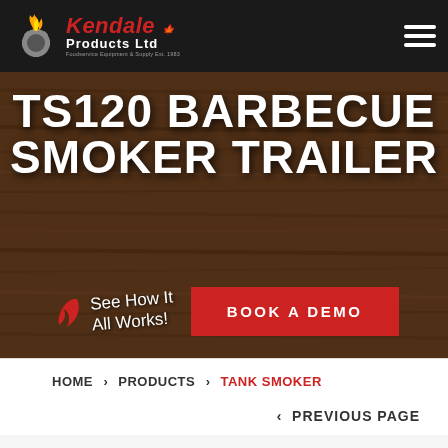Kendale Products Ltd — Foodservice Equipment & Supply Est. 1983
TS120 BARBECUE SMOKER TRAILER
See How It All Works!
BOOK A DEMO
HOME > PRODUCTS > TANK SMOKER
< PREVIOUS PAGE